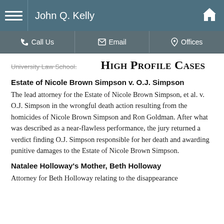John Q. Kelly
Call Us | Email | Offices
University Law School.
High Profile Cases
Estate of Nicole Brown Simpson v. O.J. Simpson
The lead attorney for the Estate of Nicole Brown Simpson, et al. v. O.J. Simpson in the wrongful death action resulting from the homicides of Nicole Brown Simpson and Ron Goldman. After what was described as a near-flawless performance, the jury returned a verdict finding O.J. Simpson responsible for her death and awarding punitive damages to the Estate of Nicole Brown Simpson.
Natalee Holloway's Mother, Beth Holloway
Attorney for Beth Holloway relating to the disappearance